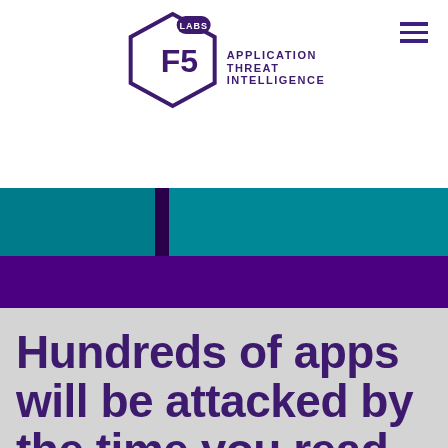[Figure (logo): F5 Labs Application Threat Intelligence logo — hexagon shape with F5 text and LABS badge, with APPLICATION THREAT INTELLIGENCE text to the right]
[Figure (photo): Banner image with teal/cyan digital network background and dark purple overlay strip]
Hundreds of apps will be attacked by the time you read this.